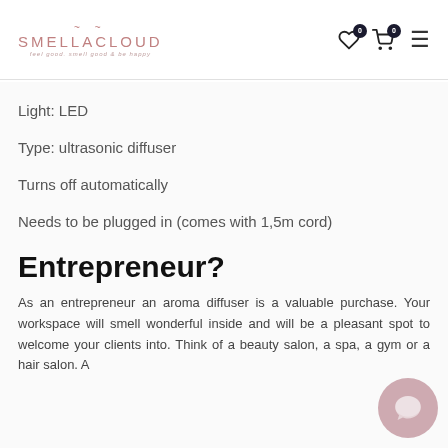SMELLACLOUD — feel good. smell good & be happy
Light: LED
Type: ultrasonic diffuser
Turns off automatically
Needs to be plugged in (comes with 1,5m cord)
Entrepreneur?
As an entrepreneur an aroma diffuser is a valuable purchase. Your workspace will smell wonderful inside and will be a pleasant spot to welcome your clients into. Think of a beauty salon, a spa, a gym or a hair salon. A